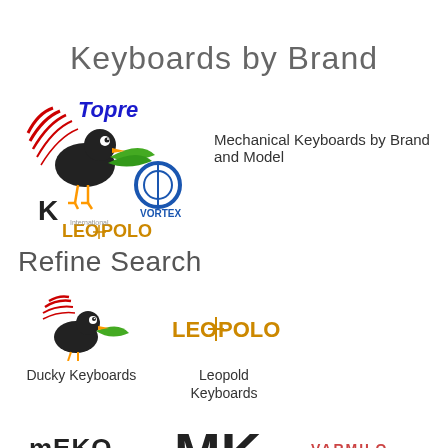Keyboards by Brand
[Figure (logo): Collage of keyboard brand logos: Topre, Ducky, Vortex, Leopold]
Mechanical Keyboards by Brand and Model
Refine Search
[Figure (logo): Ducky Keyboards logo]
Ducky Keyboards
[Figure (logo): Leopold Keyboards logo]
Leopold Keyboards
[Figure (logo): Meko Keyboards logo]
Meko Keyboards
[Figure (logo): MK Keyboards logo]
MK Keyboards
[Figure (logo): Varmilo Keyboards logo]
Varmilo Keyboards